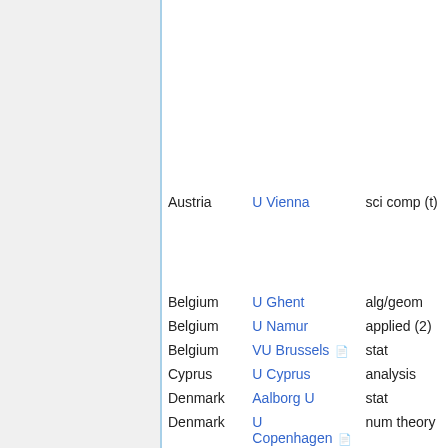| Country | Institution | Specialty |
| --- | --- | --- |
| Austria | U Vienna | sci comp (t) |
| Belgium | U Ghent | alg/geom |
| Belgium | U Namur | applied (2) |
| Belgium | VU Brussels | stat |
| Cyprus | U Cyprus | analysis |
| Denmark | Aalborg U | stat |
| Denmark | U Copenhagen | num theory |
| Denmark | U Copenhagen | finance |